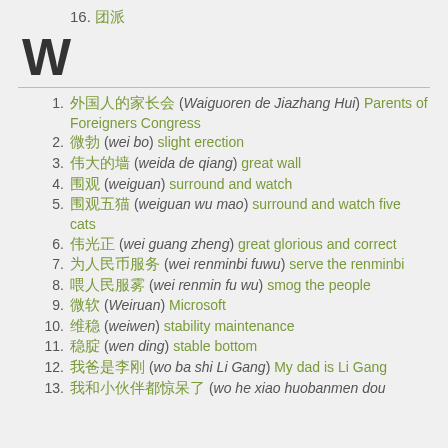16. 团派
W
1. 外国人的家长会 (Waiguoren de Jiazhang Hui) Parents of Foreigners Congress
2. 微勃 (wei bo) slight erection
3. 伟大的墙 (weida de qiang) great wall
4. 围观 (weiguan) surround and watch
5. 围观五猫 (weiguan wu mao) surround and watch five cats
6. 伟光正 (wei guang zheng) great glorious and correct
7. 为人民币服务 (wei renminbi fuwu) serve the renminbi
8. 喂人民服雾 (wei renmin fu wu) smog the people
9. 微软 (Weiruan) Microsoft
10. 维稳 (weiwen) stability maintenance
11. 稳腚 (wen ding) stable bottom
12. 我爸是李刚 (wo ba shi Li Gang) My dad is Li Gang
13. 我和小伙伴都惊呆了 (wo he xiao huobanmen dou